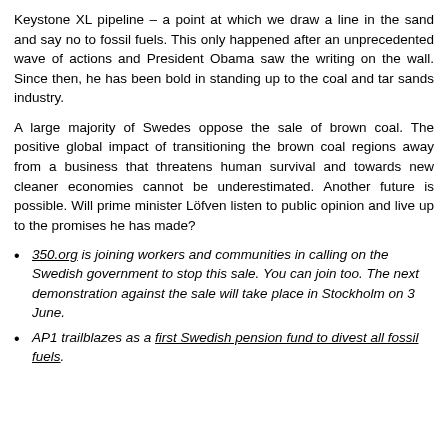Keystone XL pipeline – a point at which we draw a line in the sand and say no to fossil fuels. This only happened after an unprecedented wave of actions and President Obama saw the writing on the wall. Since then, he has been bold in standing up to the coal and tar sands industry.
A large majority of Swedes oppose the sale of brown coal. The positive global impact of transitioning the brown coal regions away from a business that threatens human survival and towards new cleaner economies cannot be underestimated. Another future is possible. Will prime minister Löfven listen to public opinion and live up to the promises he has made?
350.org is joining workers and communities in calling on the Swedish government to stop this sale. You can join too. The next demonstration against the sale will take place in Stockholm on 3 June.
AP1 trailblazes as a first Swedish pension fund to divest all fossil fuels.